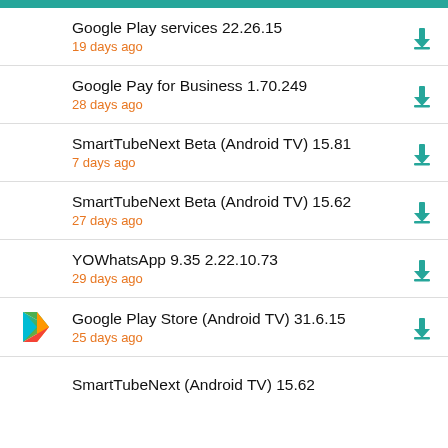Google Play services 22.26.15
19 days ago
Google Pay for Business 1.70.249
28 days ago
SmartTubeNext Beta (Android TV) 15.81
7 days ago
SmartTubeNext Beta (Android TV) 15.62
27 days ago
YOWhatsApp 9.35 2.22.10.73
29 days ago
Google Play Store (Android TV) 31.6.15
25 days ago
SmartTubeNext (Android TV) 15.62